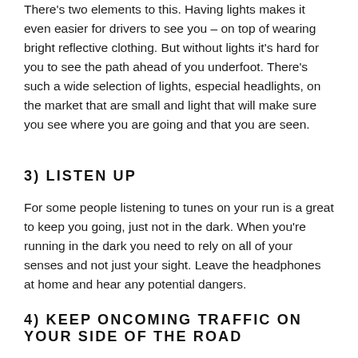There's two elements to this. Having lights makes it even easier for drivers to see you – on top of wearing bright reflective clothing. But without lights it's hard for you to see the path ahead of you underfoot. There's such a wide selection of lights, especial headlights, on the market that are small and light that will make sure you see where you are going and that you are seen.
3) LISTEN UP
For some people listening to tunes on your run is a great to keep you going, just not in the dark. When you're running in the dark you need to rely on all of your senses and not just your sight. Leave the headphones at home and hear any potential dangers.
4) KEEP ONCOMING TRAFFIC ON YOUR SIDE OF THE ROAD